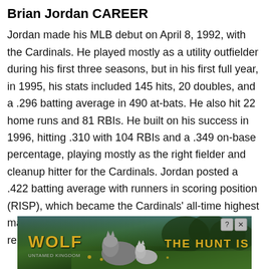Brian Jordan CAREER
Jordan made his MLB debut on April 8, 1992, with the Cardinals. He played mostly as a utility outfielder during his first three seasons, but in his first full year, in 1995, his stats included 145 hits, 20 doubles, and a .296 batting average in 490 at-bats. He also hit 22 home runs and 81 RBIs. He built on his success in 1996, hitting .310 with 104 RBIs and a .349 on-base percentage, playing mostly as the right fielder and cleanup hitter for the Cardinals. Jordan posted a .422 batting average with runners in scoring position (RISP), which became the Cardinals' all-time highest mark (the RISP statistic has been officially and reliably kept since 1974) until outfielder Allen Craig
[Figure (screenshot): Wolf game advertisement banner: 'Wolf – THE HUNT IS ON!' with wolves in a green meadow background]